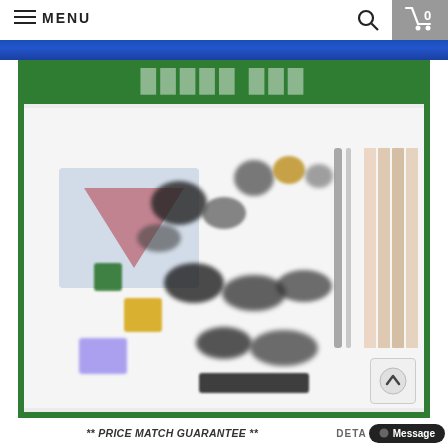MENU
[Figure (photo): Product kit image showing various components including colored stones, metal rods, black rubber pieces, and other kit parts, displayed on a green-bordered background with a blurred/stylized product catalog image. Title text partially visible reads 'KIT' on green background.]
** PRICE MATCH GUARANTEE **
DETA...
Message